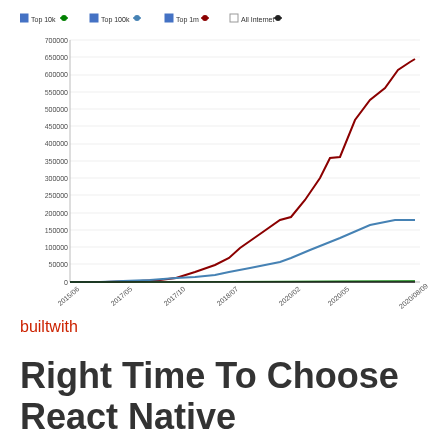[Figure (line-chart): ]
builtwith
Right Time To Choose React Native